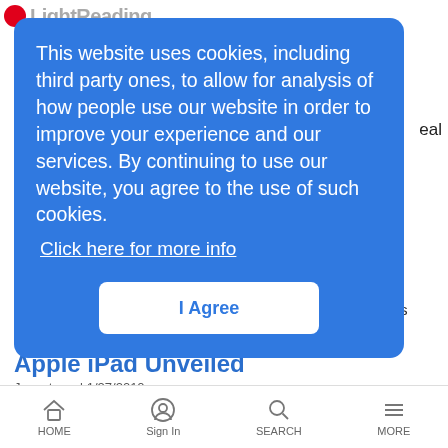LightReading
eal
This website uses cookies, including third party ones, to allow for analysis of how people use our website in order to improve your experience and our services. By continuing to use our website, you agree to the use of such cookies.
Click here for more info
I Agree
er
LR Mobile News Analysis | 1/27/2010
A roundup of what else is happening on the device scene this week
Apple iPad Unveiled
Jonestown | 1/27/2010
1:50 PM Still waiting for news on wireless connectivity options
HOME  Sign In  SEARCH  MORE